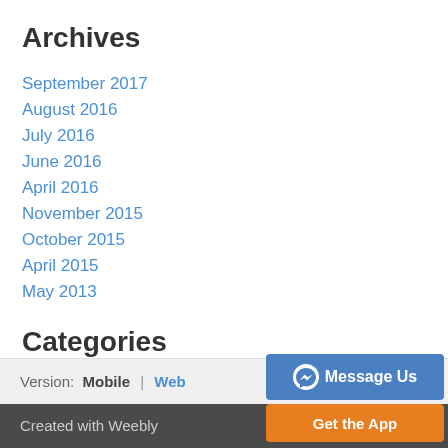Archives
September 2017
August 2016
July 2016
June 2016
April 2016
November 2015
October 2015
April 2015
May 2013
Categories
All
RSS Feed
Version: Mobile | Web
Created with Weebly